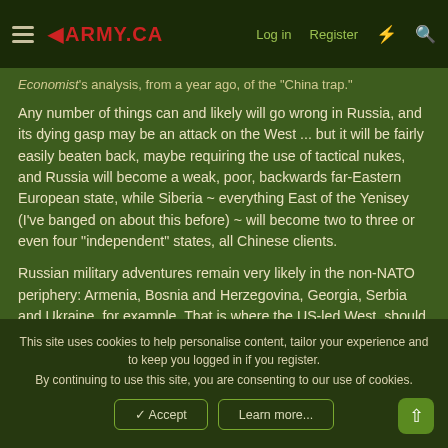◀ARMY.CA   Log in   Register
Economist's analysis, from a year ago, of the "China trap."
Any number of things can and likely will go wrong in Russia, and its dying gasp may be an attack on the West ... but it will be fairly easily beaten back, maybe requiring the use of tactical nukes, and Russia will become a weak, poor, backwards far-Eastern European state, while Siberia ~ everything East of the Yenisey (I've banged on about this before) ~ will become two to three or even four "independent" states, all Chinese clients.
Russian military adventures remain very likely in the non-NATO periphery: Armenia, Bosnia and Herzegovina, Georgia, Serbia and Ukraine, for example. That is where the US-led West, should be most concerned.
This site uses cookies to help personalise content, tailor your experience and to keep you logged in if you register.
By continuing to use this site, you are consenting to our use of cookies.